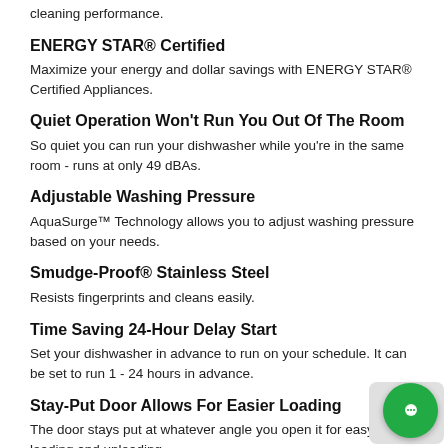cleaning performance.
ENERGY STAR® Certified
Maximize your energy and dollar savings with ENERGY STAR® Certified Appliances.
Quiet Operation Won't Run You Out Of The Room
So quiet you can run your dishwasher while you're in the same room - runs at only 49 dBAs.
Adjustable Washing Pressure
AquaSurge™ Technology allows you to adjust washing pressure based on your needs.
Smudge-Proof® Stainless Steel
Resists fingerprints and cleans easily.
Time Saving 24-Hour Delay Start
Set your dishwasher in advance to run on your schedule. It can be set to run 1 - 24 hours in advance.
Stay-Put Door Allows For Easier Loading
The door stays put at whatever angle you open it for easy loading and unloading.